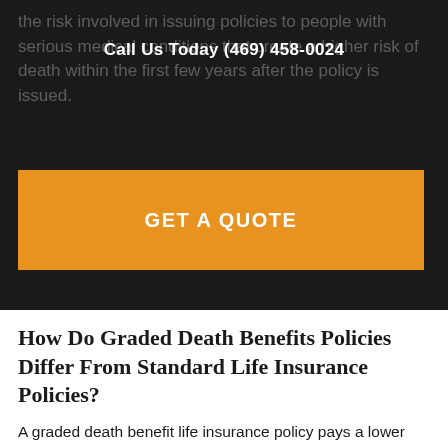the risk involved in issuing policies to people with serious medical conditions that create a higher risk of death within the first few years after the policy is issued.
Call Us Today (469) 458-0024
GET A QUOTE
How Do Graded Death Benefits Policies Differ From Standard Life Insurance Policies?
A graded death benefit life insurance policy pays a lower amount if death occurs during the first few years after you purchase the policy. Unlike standard life insurance, the death benefit is only increased to the stated face amount after the policy has been in effect for two to three years. Graded death benefit life